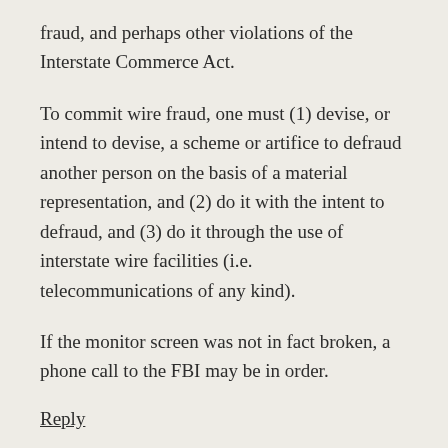fraud, and perhaps other violations of the Interstate Commerce Act.
To commit wire fraud, one must (1) devise, or intend to devise, a scheme or artifice to defraud another person on the basis of a material representation, and (2) do it with the intent to defraud, and (3) do it through the use of interstate wire facilities (i.e. telecommunications of any kind).
If the monitor screen was not in fact broken, a phone call to the FBI may be in order.
Reply